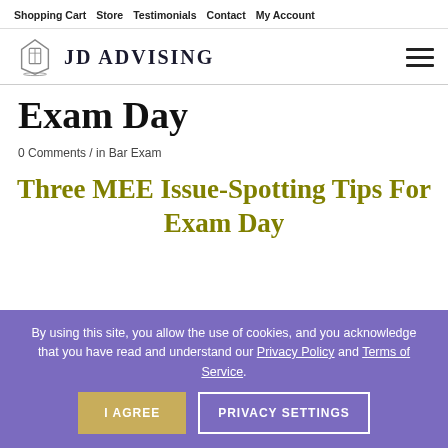Shopping Cart  Store  Testimonials  Contact  My Account
[Figure (logo): JD Advising logo with open book icon and text 'JD ADVISING']
Exam Day
0 Comments / in Bar Exam
Three MEE Issue-Spotting Tips For Exam Day
By using this site, you allow the use of cookies, and you acknowledge that you have read and understand our Privacy Policy and Terms of Service. I AGREE  PRIVACY SETTINGS